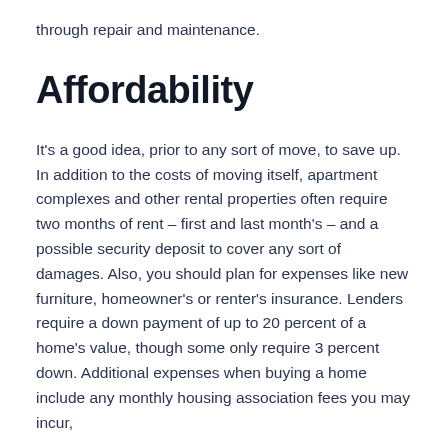through repair and maintenance.
Affordability
It's a good idea, prior to any sort of move, to save up. In addition to the costs of moving itself, apartment complexes and other rental properties often require two months of rent – first and last month's – and a possible security deposit to cover any sort of damages. Also, you should plan for expenses like new furniture, homeowner's or renter's insurance. Lenders require a down payment of up to 20 percent of a home's value, though some only require 3 percent down. Additional expenses when buying a home include any monthly housing association fees you may incur,